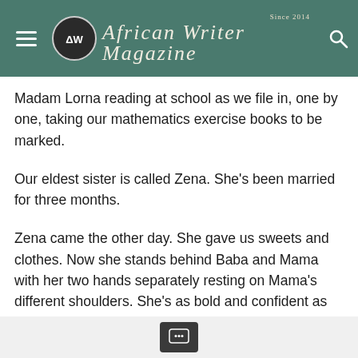African Writer Magazine — Since 2014
Madam Lorna reading at school as we file in, one by one, taking our mathematics exercise books to be marked.
Our eldest sister is called Zena. She’s been married for three months.
Zena came the other day. She gave us sweets and clothes. Now she stands behind Baba and Mama with her two hands separately resting on Mama’s different shoulders. She’s as bold and confident as the rumour I’ve just heard from Mishi, that Zena’s people from Kinango are bringing dowry. I don’t know where Kinango is. I hear it’s near the ocean.
I shift in and steel myself stiff.